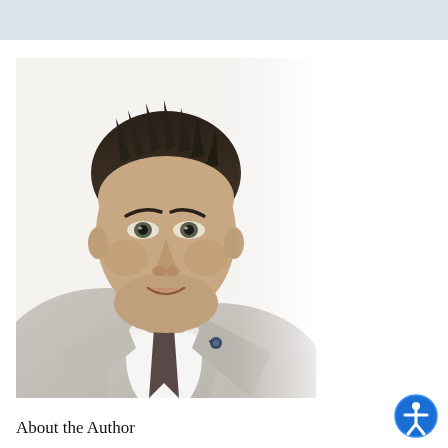[Figure (photo): Professional headshot of a man in a light grey suit with a dark tie and lapel pin, against a white background. Dark short spiky hair, looking directly at camera.]
About the Author